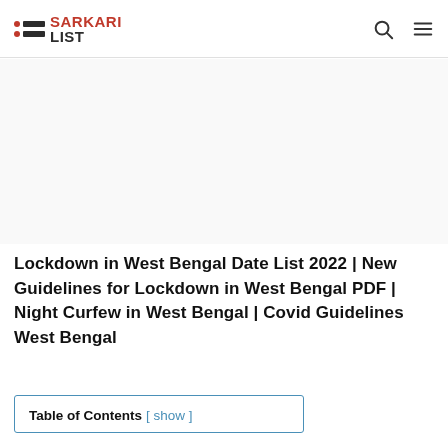SARKARI LIST
[Figure (other): Advertisement/blank area below navigation bar]
Lockdown in West Bengal Date List 2022 | New Guidelines for Lockdown in West Bengal PDF | Night Curfew in West Bengal | Covid Guidelines West Bengal
| Table of Contents |
| --- |
| [ show ] |